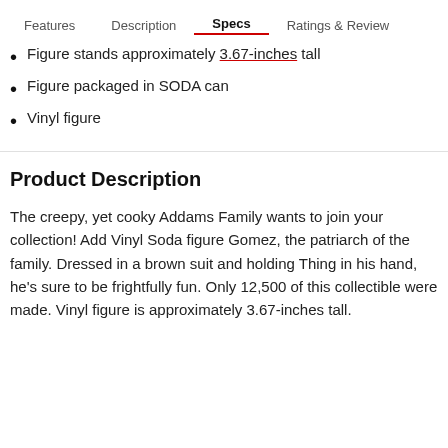Features   Description   Specs   Ratings & Reviews
Figure stands approximately 3.67-inches tall
Figure packaged in SODA can
Vinyl figure
Product Description
The creepy, yet cooky Addams Family wants to join your collection! Add Vinyl Soda figure Gomez, the patriarch of the family. Dressed in a brown suit and holding Thing in his hand, he's sure to be frightfully fun. Only 12,500 of this collectible were made. Vinyl figure is approximately 3.67-inches tall.